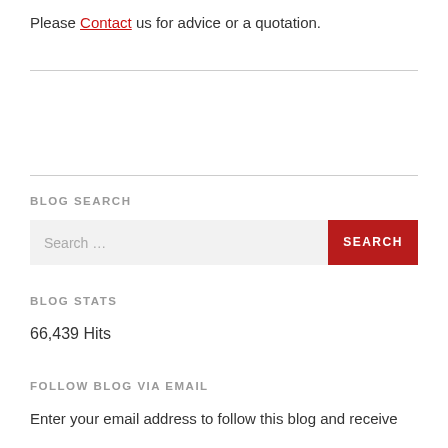Please Contact us for advice or a quotation.
BLOG SEARCH
Search …
BLOG STATS
66,439 Hits
FOLLOW BLOG VIA EMAIL
Enter your email address to follow this blog and receive